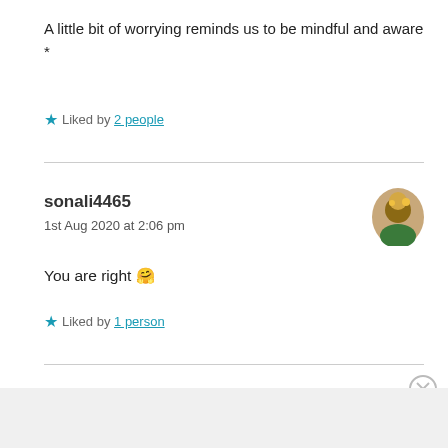A little bit of worrying reminds us to be mindful and aware *
★ Liked by 2 people
sonali4465
1st Aug 2020 at 2:06 pm
You are right 🤗
★ Liked by 1 person
Advertisements
ThePlatform Where WordPress Works Best   P Pressable